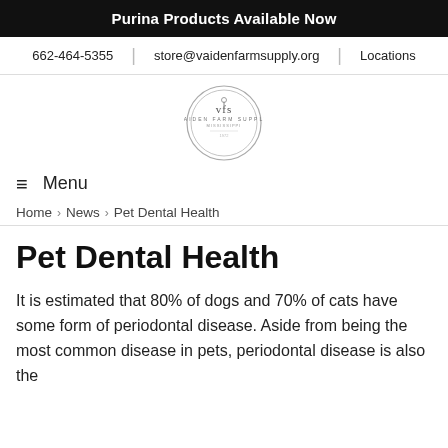Purina Products Available Now
662-464-5355   store@vaidenfarmsupply.org   Locations
[Figure (logo): Vaiden Farm Supply circular logo with VFS monogram and text]
≡  Menu
Home › News › Pet Dental Health
Pet Dental Health
It is estimated that 80% of dogs and 70% of cats have some form of periodontal disease. Aside from being the most common disease in pets, periodontal disease is also the